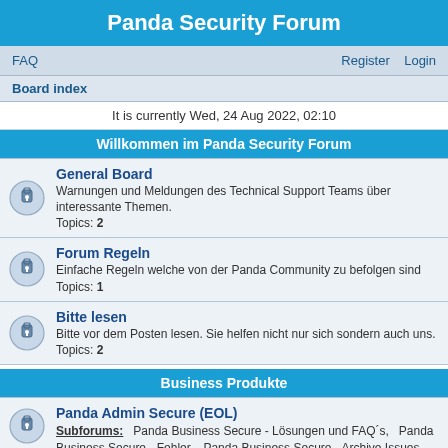Panda Security Forum
FAQ    Register    Login
Board index
It is currently Wed, 24 Aug 2022, 02:10
Willkommen im Panda Security Forum
General Board
Warnungen und Meldungen des Technical Support Teams über interessante Themen.
Topics: 2
Forum Regeln
Einfache Regeln welche von der Panda Community zu befolgen sind
Topics: 1
Bitte lesen
Bitte vor dem Posten lesen. Sie helfen nicht nur sich sondern auch uns.
Topics: 2
Business Produkte
Panda Admin Secure (EOL)
Subforums: Panda Business Secure - Lösungen und FAQ´s, Panda Business Secure - Fehler, Panda Business Secure - Archive Issues
Topics: 21
Adaptiv Defense / Panda Endpoint Protection